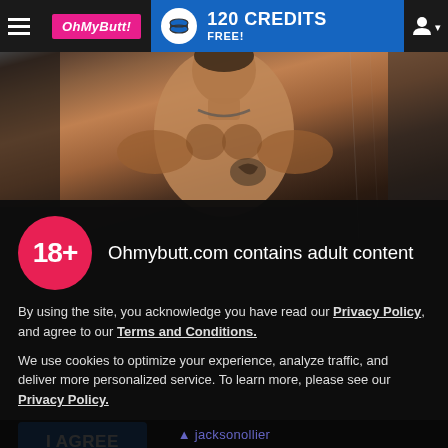OhMyButt! — 120 CREDITS FREE!
[Figure (photo): Shirtless muscular man with tattoo, leaning forward in shower setting, dark background]
Ohmybutt.com contains adult content
By using the site, you acknowledge you have read our Privacy Policy, and agree to our Terms and Conditions.
We use cookies to optimize your experience, analyze traffic, and deliver more personalized service. To learn more, please see our Privacy Policy.
I AGREE